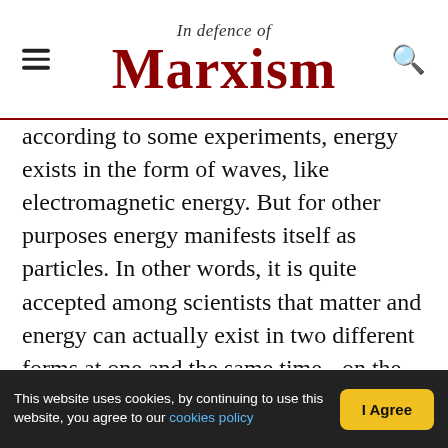In defence of Marxism
according to some experiments, energy exists in the form of waves, like electromagnetic energy. But for other purposes energy manifests itself as particles. In other words, it is quite accepted among scientists that matter and energy can actually exist in two different forms at one and the same time - on the one hand as a kind of intangible wave, on the other hand as a particle with a definite 'quantum' (amount) of energy embodied in it.
Therefore the basis of the quantum theory in modern physics is contradiction. But there are many other contradictions known to science.
This website uses cookies, by continuing to use this website, you agree to our cookies policy